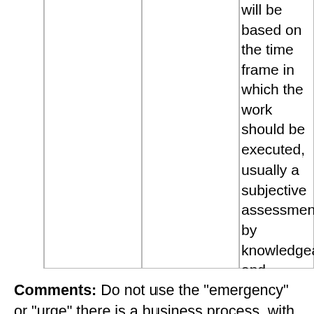will be based on the time frame in which the work should be executed, usually a subjective assessment by knowledgeable and responsible people.
Comments: Do not use the "emergency" or "urge" there is a business process, with clear responsibil and take action to reduce emergencies and urgen